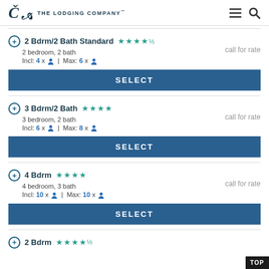The Lodging Company
2 Bdrm/2 Bath Standard ★★★★½ | 2 bedroom, 2 bath | Incl: 4 x person | Max: 6 x person | call for rate | SELECT
3 Bdrm/2 Bath ★★★★ | 3 bedroom, 2 bath | Incl: 6 x person | Max: 8 x person | call for rate | SELECT
4 Bdrm ★★★★ | 4 bedroom, 3 bath | Incl: 10 x person | Max: 10 x person | call for rate | SELECT
2 Bdrm ★★★★½ (partial)